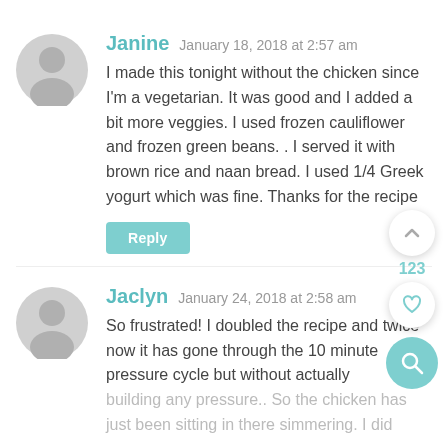[Figure (illustration): Gray circular avatar icon for user Janine]
Janine  January 18, 2018 at 2:57 am
I made this tonight without the chicken since I'm a vegetarian. It was good and I added a bit more veggies. I used frozen cauliflower and frozen green beans. . I served it with brown rice and naan bread. I used 1/4 Greek yogurt which was fine. Thanks for the recipe
Reply
[Figure (illustration): Up arrow chevron button circle]
123
[Figure (illustration): Heart icon button circle]
[Figure (illustration): Search/magnifier icon teal circle button]
[Figure (illustration): Gray circular avatar icon for user Jaclyn]
Jaclyn  January 24, 2018 at 2:58 am
So frustrated! I doubled the recipe and twice now it has gone through the 10 minute pressure cycle but without actually building any pressure.. So the chicken has just been sitting in there simmering. I did